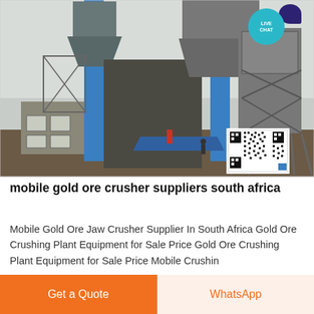[Figure (photo): Industrial gold ore crushing plant with tall blue steel columns, silos, conveyor structures, metal framework scaffolding, a small building with windows at lower left, workers visible, a QR code overlay in the lower right corner, and a LIVE CHAT badge in the upper right corner.]
mobile gold ore crusher suppliers south africa
Mobile Gold Ore Jaw Crusher Supplier In South Africa Gold Ore Crushing Plant Equipment for Sale Price Gold Ore Crushing Plant Equipment for Sale Price Mobile Crushing...